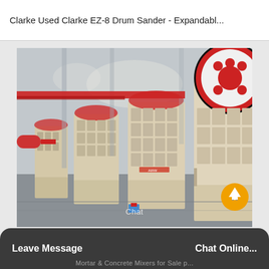Clarke Used Clarke EZ-8 Drum Sander - Expandabl...
[Figure (photo): Industrial jaw crushers lined up in a factory/warehouse setting. Multiple large cream/white colored jaw crusher machines with red flywheel discs on top, arranged in a row receding into the background. The facility has a concrete floor, metal structural columns, and overhead lighting. The machines bear a logo/brand mark. An orange scroll-up button appears in the bottom right corner of the photo.]
Chat
Leave Message   Mortar & Concrete Mixers for Sale p...   Chat Online...